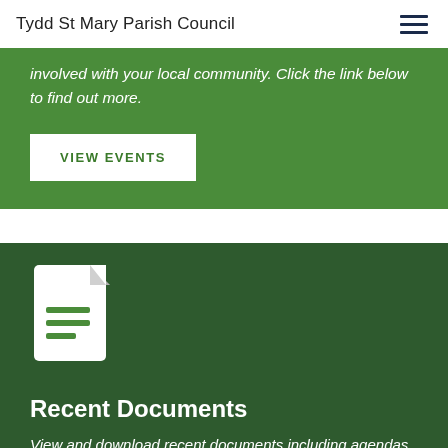Tydd St Mary Parish Council
involved with your local community. Click the link below to find out more.
VIEW EVENTS
Recent Documents
View and download recent documents including agendas, minutes and financial reports.